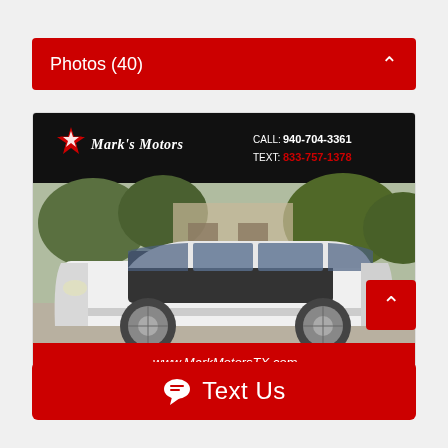Photos (40)
[Figure (photo): White Toyota Highlander SUV photographed from the side at Mark's Motors dealership. Top banner shows Mark's Motors logo with red star, CALL: 940-704-3361, TEXT: 833-757-1378. Bottom banner shows www.MarksmotorsTX.com]
💬  Text Us